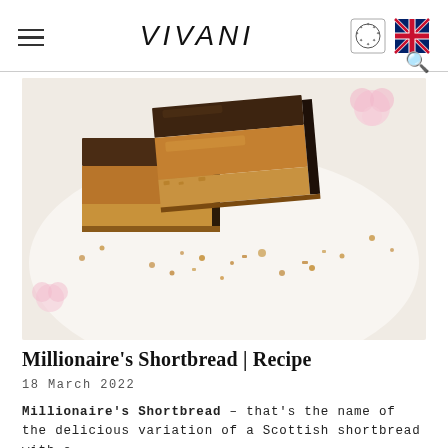VIVANI
[Figure (photo): Millionaire's Shortbread bars stacked on a white plate, showing layers of shortbread base, caramel filling, and chocolate topping, with crumbs scattered around and pink flowers in the background]
Millionaire's Shortbread | Recipe
18 March 2022
Millionaire's Shortbread – that's the name of the delicious variation of a Scottish shortbread with a